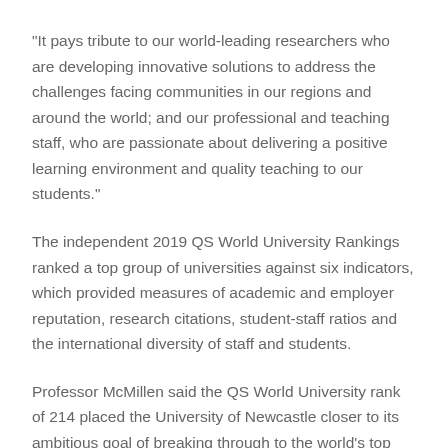“It pays tribute to our world-leading researchers who are developing innovative solutions to address the challenges facing communities in our regions and around the world; and our professional and teaching staff, who are passionate about delivering a positive learning environment and quality teaching to our students.”
The independent 2019 QS World University Rankings ranked a top group of universities against six indicators, which provided measures of academic and employer reputation, research citations, student-staff ratios and the international diversity of staff and students.
Professor McMillen said the QS World University rank of 214 placed the University of Newcastle closer to its ambitious goal of breaking through to the world’s top 200 universities by 2020.